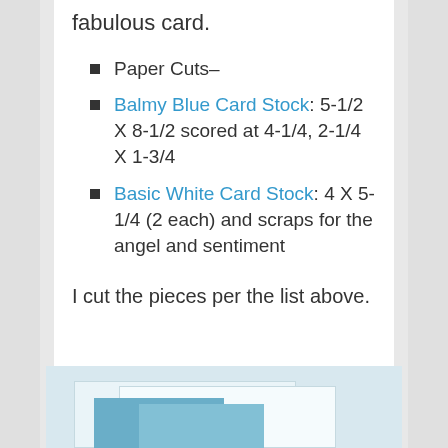fabulous card.
Paper Cuts–
Balmy Blue Card Stock: 5-1/2 X 8-1/2 scored at 4-1/4, 2-1/4 X 1-3/4
Basic White Card Stock: 4 X 5-1/4 (2 each) and scraps for the angel and sentiment
I cut the pieces per the list above.
[Figure (photo): Photo showing cut pieces of blue and white card stock laid out on a light blue background]